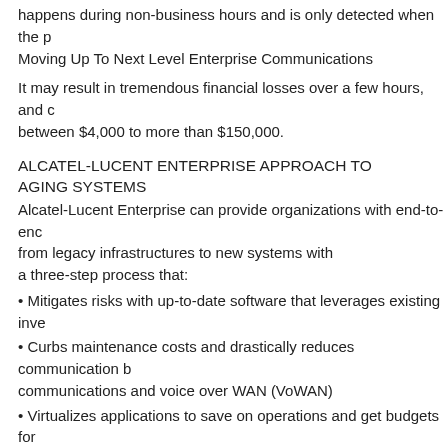happens during non-business hours and is only detected when the p Moving Up To Next Level Enterprise Communications
It may result in tremendous financial losses over a few hours, and c between $4,000 to more than $150,000.
ALCATEL-LUCENT ENTERPRISE APPROACH TO AGING SYSTEMS
Alcatel-Lucent Enterprise can provide organizations with end-to-enc from legacy infrastructures to new systems with a three-step process that:
• Mitigates risks with up-to-date software that leverages existing inve
• Curbs maintenance costs and drastically reduces communication b communications and voice over WAN (VoWAN)
• Virtualizes applications to save on operations and get budgets for meet business expectations
Get up-to-date software that leverages existing investments Alcatel-Lucent Enterprise helps organizations leverage the compone communications system that have value and update only componer longer able to meet operations objectives. An existing Alcatel-Lucen